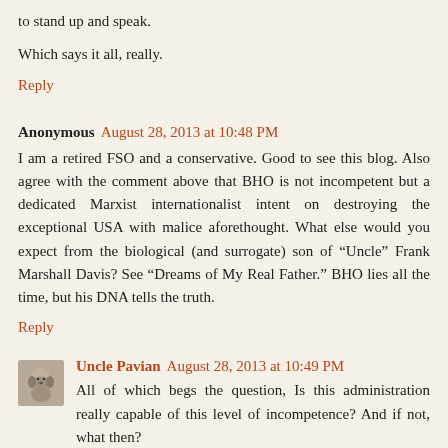to stand up and speak.
Which says it all, really.
Reply
Anonymous August 28, 2013 at 10:48 PM
I am a retired FSO and a conservative. Good to see this blog. Also agree with the comment above that BHO is not incompetent but a dedicated Marxist internationalist intent on destroying the exceptional USA with malice aforethought. What else would you expect from the biological (and surrogate) son of "Uncle" Frank Marshall Davis? See "Dreams of My Real Father." BHO lies all the time, but his DNA tells the truth.
Reply
Uncle Pavian August 28, 2013 at 10:49 PM
All of which begs the question, Is this administration really capable of this level of incompetence? And if not, what then?